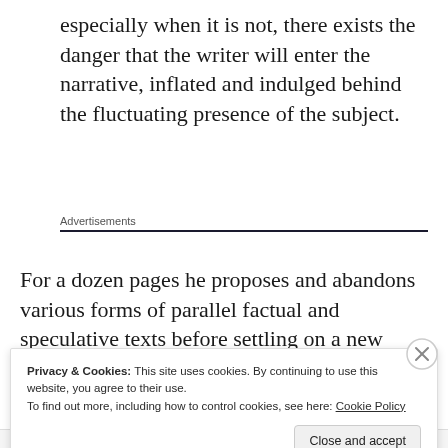especially when it is not, there exists the danger that the writer will enter the narrative, inflated and indulged behind the fluctuating presence of the subject.
Advertisements
For a dozen pages he proposes and abandons various forms of parallel factual and speculative texts before settling on a new
Privacy & Cookies: This site uses cookies. By continuing to use this website, you agree to their use.
To find out more, including how to control cookies, see here: Cookie Policy
Close and accept